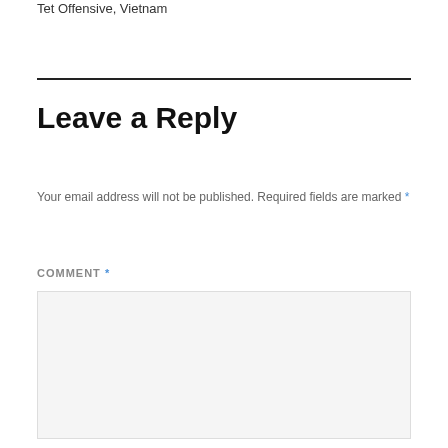Tet Offensive, Vietnam
Leave a Reply
Your email address will not be published. Required fields are marked *
COMMENT *
[Figure (other): Empty comment text area input box with light gray background]